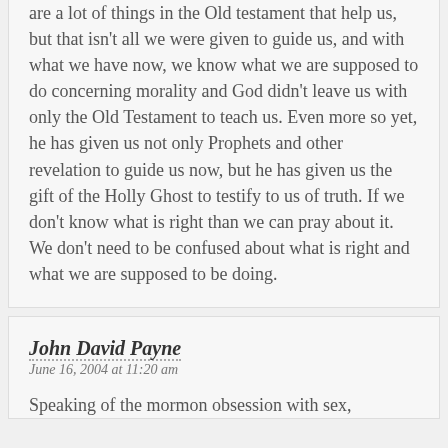are a lot of things in the Old testament that help us, but that isn't all we were given to guide us, and with what we have now, we know what we are supposed to do concerning morality and God didn't leave us with only the Old Testament to teach us. Even more so yet, he has given us not only Prophets and other revelation to guide us now, but he has given us the gift of the Holly Ghost to testify to us of truth. If we don't know what is right than we can pray about it. We don't need to be confused about what is right and what we are supposed to be doing.
John David Payne
June 16, 2004 at 11:20 am
Speaking of the mormon obsession with sex,